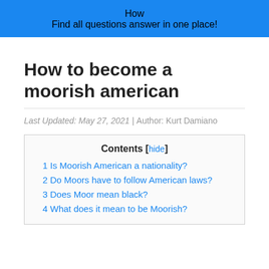How
Find all questions answer in one place!
How to become a moorish american
Last Updated: May 27, 2021 | Author: Kurt Damiano
Contents [hide]
1 Is Moorish American a nationality?
2 Do Moors have to follow American laws?
3 Does Moor mean black?
4 What does it mean to be Moorish?